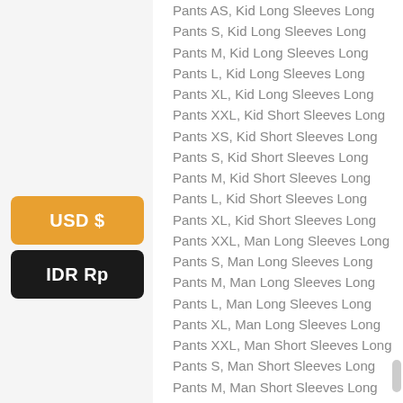Pants AS, Kid Long Sleeves Long Pants S, Kid Long Sleeves Long Pants M, Kid Long Sleeves Long Pants L, Kid Long Sleeves Long Pants XL, Kid Long Sleeves Long Pants XXL, Kid Short Sleeves Long Pants XS, Kid Short Sleeves Long Pants S, Kid Short Sleeves Long Pants M, Kid Short Sleeves Long Pants L, Kid Short Sleeves Long Pants XL, Kid Short Sleeves Long Pants XXL, Man Long Sleeves Long Pants S, Man Long Sleeves Long Pants M, Man Long Sleeves Long Pants L, Man Long Sleeves Long Pants XL, Man Long Sleeves Long Pants XXL, Man Short Sleeves Long Pants S, Man Short Sleeves Long Pants M, Man Short Sleeves Long Pants L, Man Short Sleeves Long Pants XL, Man Short Sleeves Long Pants XXL, Man Short Sleeves Short Pants S, Man Short Sleeves Short Pants M, Man Short Sleeves Short Pants L, Man Short Sleeves Short Pants XL, Man Short Sleeves Short Pants XXL, Woman Long Sleeves Long Pants S, Woman Long Sleeves Long Pants M, Woman Long Sleeves Long Pants L, Woman Long Sleeves Long Pants XL, Woman Long Sleeves Long Pants XXL, Woman Short Sleeves Long Pants S, Woman
USD $
IDR Rp